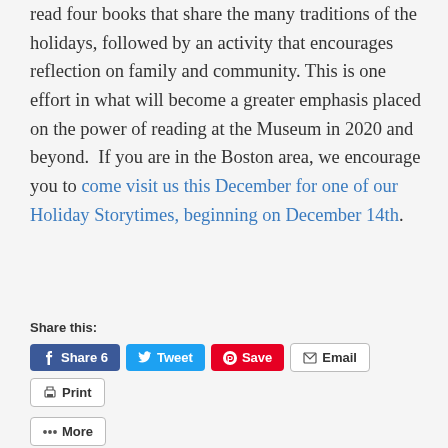read four books that share the many traditions of the holidays, followed by an activity that encourages reflection on family and community. This is one effort in what will become a greater emphasis placed on the power of reading at the Museum in 2020 and beyond.  If you are in the Boston area, we encourage you to come visit us this December for one of our Holiday Storytimes, beginning on December 14th.
Share this:
Share 6 | Tweet | Save | Email | Print | More